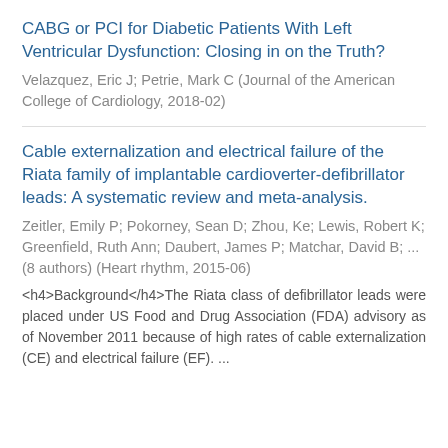CABG or PCI for Diabetic Patients With Left Ventricular Dysfunction: Closing in on the Truth?
Velazquez, Eric J; Petrie, Mark C (Journal of the American College of Cardiology, 2018-02)
Cable externalization and electrical failure of the Riata family of implantable cardioverter-defibrillator leads: A systematic review and meta-analysis.
Zeitler, Emily P; Pokorney, Sean D; Zhou, Ke; Lewis, Robert K; Greenfield, Ruth Ann; Daubert, James P; Matchar, David B; ... (8 authors) (Heart rhythm, 2015-06)
<h4>Background</h4>The Riata class of defibrillator leads were placed under US Food and Drug Association (FDA) advisory as of November 2011 because of high rates of cable externalization (CE) and electrical failure (EF). ...